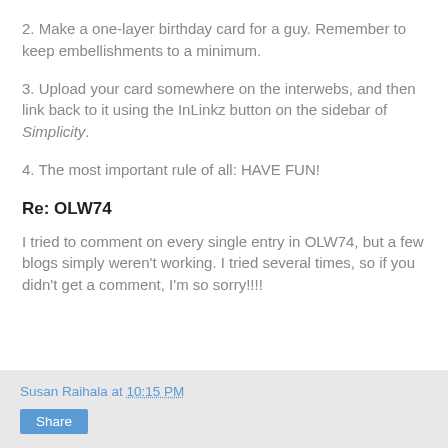2. Make a one-layer birthday card for a guy. Remember to keep embellishments to a minimum.
3. Upload your card somewhere on the interwebs, and then link back to it using the InLinkz button on the sidebar of Simplicity.
4. The most important rule of all: HAVE FUN!
Re: OLW74
I tried to comment on every single entry in OLW74, but a few blogs simply weren't working. I tried several times, so if you didn't get a comment, I'm so sorry!!!!
Susan Raihala at 10:15 PM  Share